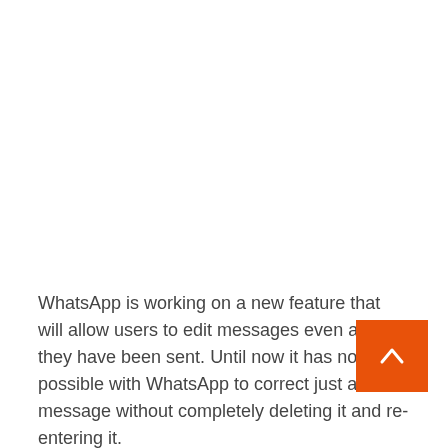WhatsApp is working on a new feature that will allow users to edit messages even after they have been sent. Until now it has not been possible with WhatsApp to correct just a sent message without completely deleting it and re-entering it.
After the emoji reactions that have already been introduced for all users, the increase in the maximum